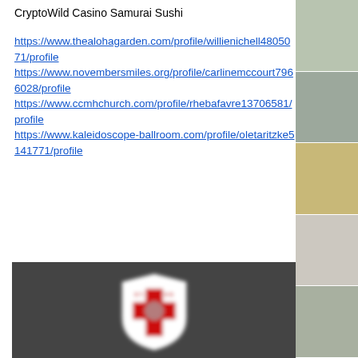CryptoWild Casino Samurai Sushi
https://www.thealohagarden.com/profile/willienichell4805071/profile https://www.novembersmiles.org/profile/carlinemccourt7966028/profile https://www.ccmhchurch.com/profile/rhebafavre13706581/profile https://www.kaleidoscope-ballroom.com/profile/oletaritzke5141771/profile
[Figure (logo): St. James shield logo with red cross on white background, blurred, on dark gray background]